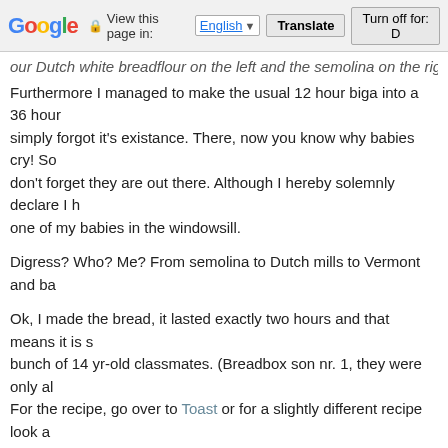Google  View this page in: English [▼]  Translate  Turn off for: D
our Dutch white breadflour on the left and the semolina on the right. Furthermore I managed to make the usual 12 hour biga into a 36 hour simply forgot it's existance. There, now you know why babies cry! So don't forget they are out there. Although I hereby solemnly declare I h one of my babies in the windowsill.
Digress? Who? Me? From semolina to Dutch mills to Vermont and ba
Ok, I made the bread, it lasted exactly two hours and that means it is s bunch of 14 yr-old classmates. (Breadbox son nr. 1, they were only al For the recipe, go over to Toast or for a slightly different recipe look a recipe. I think I like this one even better, because of the great crust an
at May 23, 2006  Labels: bread
6 comments:
Anonymous 25/5/06 4:37 PM
Please, take me with you on your trip to king Arthur's. Oh if o